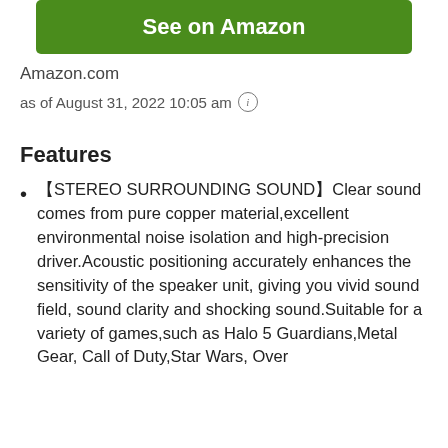[Figure (other): Green 'See on Amazon' button]
Amazon.com
as of August 31, 2022 10:05 am ℹ
Features
【STEREO SURROUNDING SOUND】Clear sound comes from pure copper material,excellent environmental noise isolation and high-precision driver.Acoustic positioning accurately enhances the sensitivity of the speaker unit, giving you vivid sound field, sound clarity and shocking sound.Suitable for a variety of games,such as Halo 5 Guardians,Metal Gear, Call of Duty,Star Wars, Over